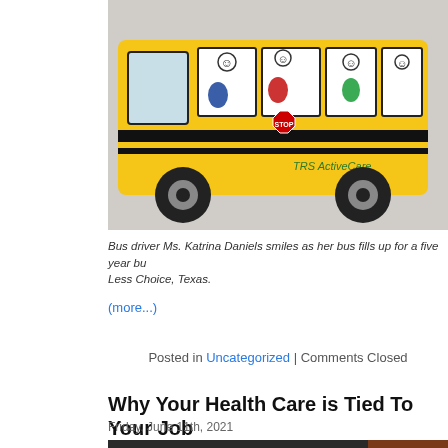[Figure (photo): A yellow school bus toy/model with cartoon children in the windows and a STOP sign on the side. 'TRS ActiveCare' text is visible on the bus.]
Bus driver Ms. Katrina Daniels smiles as her bus fills up for a five year bu... Less Choice, Texas.
(more...)
Posted in Uncategorized | Comments Closed
Why Your Health Care is Tied To Your Job
Friday, June 11th, 2021
[Figure (screenshot): Video thumbnail for 'Why Your Health Care Is Tied to Your Job' showing an animated cartoon scene with a character and a hospital scene. A brown box on the right shows 'NOW WITH' text in yellow.]